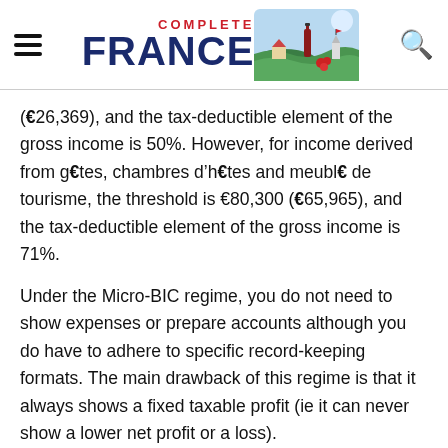Complete France
(€26,369), and the tax-deductible element of the gross income is 50%. However, for income derived from gîtes, chambres d'hôtes and meublé de tourisme, the threshold is €80,300 (€65,965), and the tax-deductible element of the gross income is 71%.
Under the Micro-BIC regime, you do not need to show expenses or prepare accounts although you do have to adhere to specific record-keeping formats. The main drawback of this regime is that it always shows a fixed taxable profit (ie it can never show a lower net profit or a loss).
If the property is a leaseback property or is held in a French property holding company (SCI), the Micro-BIC